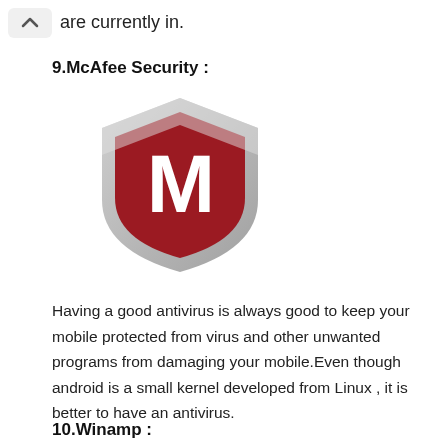are currently in.
9.McAfee Security :
[Figure (logo): McAfee Security logo: a shield shape with silver/grey border, dark red fill, and a white stylized letter M in the center.]
Having a good antivirus is always good to keep your mobile protected from virus and other unwanted programs from damaging your mobile.Even though android is a small kernel developed from Linux , it is better to have an antivirus.
10.Winamp :